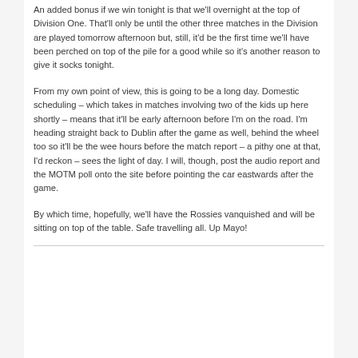An added bonus if we win tonight is that we'll overnight at the top of Division One. That'll only be until the other three matches in the Division are played tomorrow afternoon but, still, it'd be the first time we'll have been perched on top of the pile for a good while so it's another reason to give it socks tonight.
From my own point of view, this is going to be a long day. Domestic scheduling – which takes in matches involving two of the kids up here shortly – means that it'll be early afternoon before I'm on the road. I'm heading straight back to Dublin after the game as well, behind the wheel too so it'll be the wee hours before the match report – a pithy one at that, I'd reckon – sees the light of day. I will, though, post the audio report and the MOTM poll onto the site before pointing the car eastwards after the game.
By which time, hopefully, we'll have the Rossies vanquished and will be sitting on top of the table. Safe travelling all. Up Mayo!